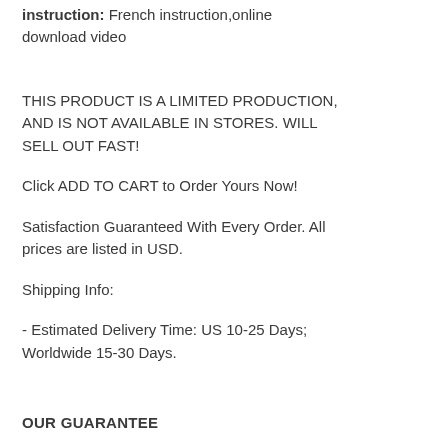instruction: French instruction,online download video
THIS PRODUCT IS A LIMITED PRODUCTION, AND IS NOT AVAILABLE IN STORES. WILL SELL OUT FAST!
Click ADD TO CART to Order Yours Now!
Satisfaction Guaranteed With Every Order. All prices are listed in USD.
Shipping Info:
- Estimated Delivery Time: US 10-25 Days; Worldwide 15-30 Days.
OUR GUARANTEE
We truly believe we make some of the most